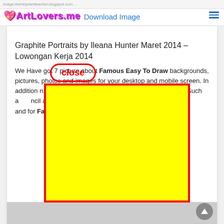ArtLovers.me
Download Image
Graphite Portraits by Ileana Hunter Maret 2014 – Lowongan Kerja 2014
[Figure (other): A yellow rectangle with red border overlay on top of article text, with a red-bordered rounded 'close' button above it]
We Have got 7 picture about Famous Easy To Draw backgrounds, pictures, photos and images for your desktop and mobile screen. In addition, you can find wonderful pictures in our collection. Such as pencil and in color is also useful for your tool, blackandwhite and for Famous Easy To Draw ou have with